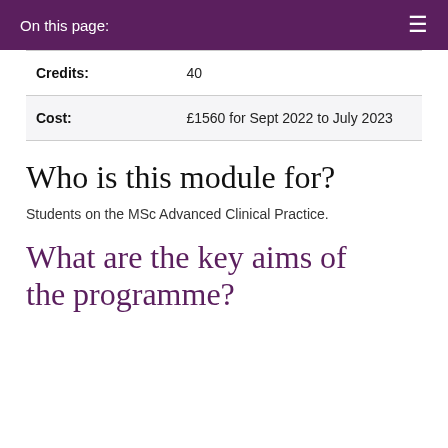On this page:
| Label | Value |
| --- | --- |
| Credits: | 40 |
| Cost: | £1560 for Sept 2022 to July 2023 |
Who is this module for?
Students on the MSc Advanced Clinical Practice.
What are the key aims of the programme?